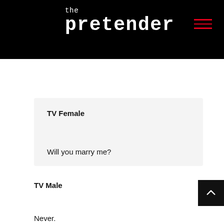the pretender
TV Female

Will you marry me?
TV Male
Never.